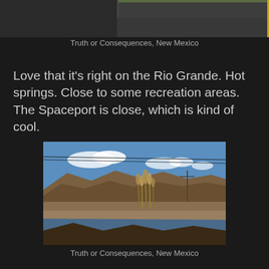[Figure (photo): Partially visible photo of a building scene in Truth or Consequences, New Mexico - top portion only visible]
Truth or Consequences, New Mexico
Love that it's right on the Rio Grande. Hot springs. Close to some recreation areas. The Spaceport is close, which is kind of cool.
[Figure (photo): Photo of the Rio Grande river with mountains in background, dry vegetation in foreground, blue sky with clouds - Truth or Consequences, New Mexico]
Truth or Consequences, New Mexico